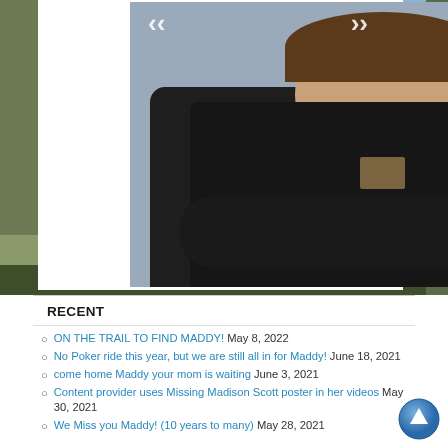[Figure (photo): Photo of a young person wearing a dark/black Carhartt zip-up hoodie jacket with a blue shirt visible underneath, photographed outdoors with a gray background. Navigation arrows visible at top. Outdoor/nature scene surrounds the white photo box.]
RECENT
ON THE TRAIL TO FIND MADDY! May 8, 2022
No Poker ride this year, but we are still all in for Maddy! June 18, 2021
come home Maddy your mom is waiting June 3, 2021
Content provider uses Missing Madison Scott poster in her videos May 30, 2021
We Miss you Maddy! (10 years to many) May 28, 2021